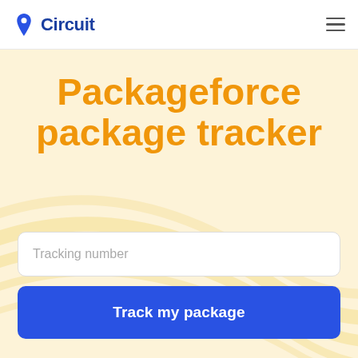Circuit
Packageforce package tracker
Tracking number
Track my package